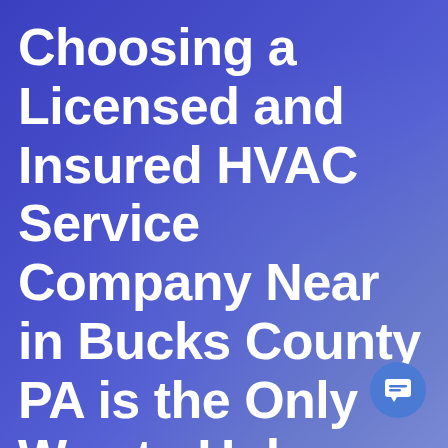Choosing a Licensed and Insured HVAC Service Company Near in Bucks County PA is the Only Way to Upkeep Your HVAC Equipment
[Figure (illustration): Blue circular chat/message button icon in bottom-right corner]